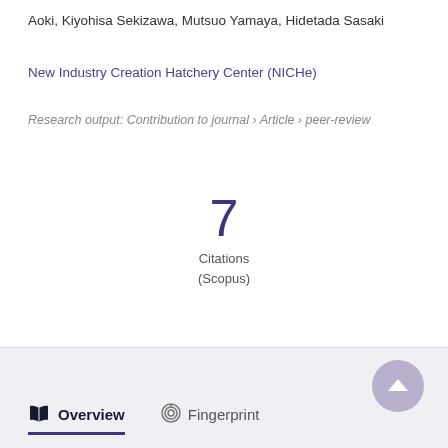Aoki, Kiyohisa Sekizawa, Mutsuo Yamaya, Hidetada Sasaki
New Industry Creation Hatchery Center (NICHe)
Research output: Contribution to journal › Article › peer-review
7 Citations (Scopus)
Overview  Fingerprint